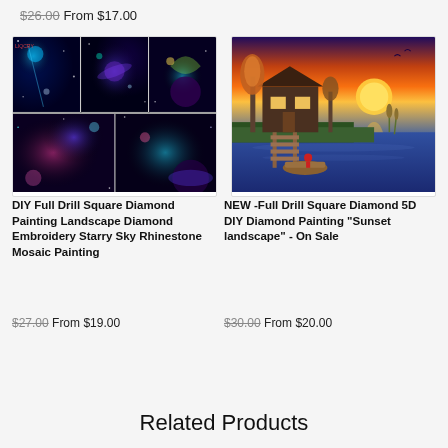$26.00 From $17.00
[Figure (photo): Collage of four galaxy/space diamond painting images with neon colors, nebula, planets, and cosmic scenes]
DIY Full Drill Square Diamond Painting Landscape Diamond Embroidery Starry Sky Rhinestone Mosaic Painting
$27.00 From $19.00
[Figure (photo): Photo of a cozy log cabin by a lake at sunset with a wooden dock and boat in the foreground]
NEW -Full Drill Square Diamond 5D DIY Diamond Painting "Sunset landscape" - On Sale
$30.00 From $20.00
Related Products